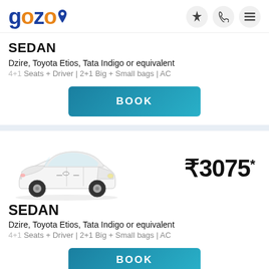gozo
SEDAN
Dzire, Toyota Etios, Tata Indigo or equivalent
4+1 Seats + Driver | 2+1 Big + Small bags | AC
BOOK
[Figure (photo): White Toyota Etios sedan car image]
₹3075*
SEDAN
Dzire, Toyota Etios, Tata Indigo or equivalent
4+1 Seats + Driver | 2+1 Big + Small bags | AC
BOOK